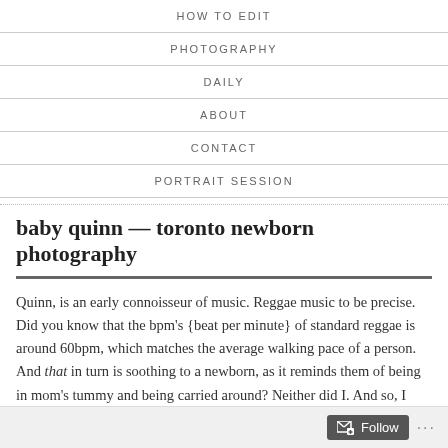HOW TO EDIT
PHOTOGRAPHY
DAILY
ABOUT
CONTACT
PORTRAIT SESSION
baby quinn — toronto newborn photography
Quinn, is an early connoisseur of music. Reggae music to be precise. Did you know that the bpm's {beat per minute} of standard reggae is around 60bpm, which matches the average walking pace of a person. And that in turn is soothing to a newborn, as it reminds them of being in mom's tummy and being carried around? Neither did I. And so, I was greeted with the soft sounds of reggae, last Sunday morning, when I arrived for the New Born Shoot...